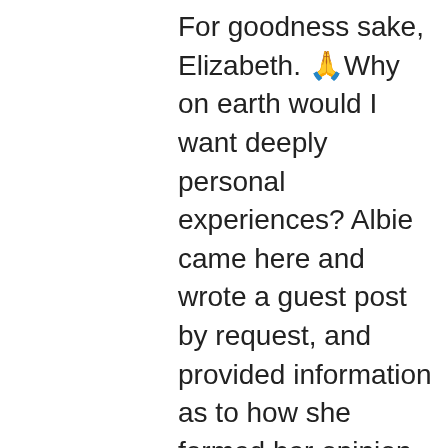For goodness sake, Elizabeth. 🙏Why on earth would I want deeply personal experiences? Albie came here and wrote a guest post by request, and provided information as to how she formed her opinion. Now, people have the right to come and defend the retreat if they so wish, but remember, this is an anti-MLM site. People saying how "wonderful" it is